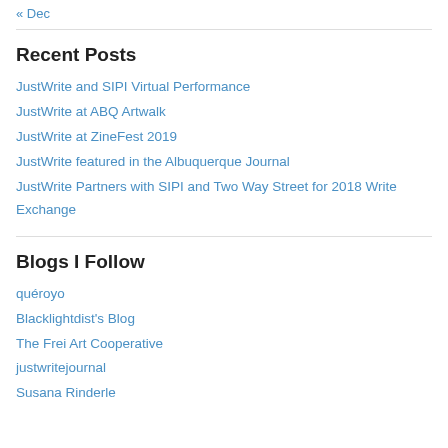« Dec
Recent Posts
JustWrite and SIPI Virtual Performance
JustWrite at ABQ Artwalk
JustWrite at ZineFest 2019
JustWrite featured in the Albuquerque Journal
JustWrite Partners with SIPI and Two Way Street for 2018 Write Exchange
Blogs I Follow
quéroyo
Blacklightdist's Blog
The Frei Art Cooperative
justwritejournal
Susana Rinderle